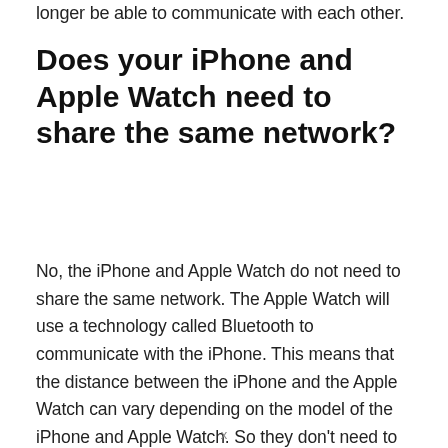longer be able to communicate with each other.
Does your iPhone and Apple Watch need to share the same network?
No, the iPhone and Apple Watch do not need to share the same network. The Apple Watch will use a technology called Bluetooth to communicate with the iPhone. This means that the distance between the iPhone and the Apple Watch can vary depending on the model of the iPhone and Apple Watch. So they don't need to share a wi-fi connection.
x